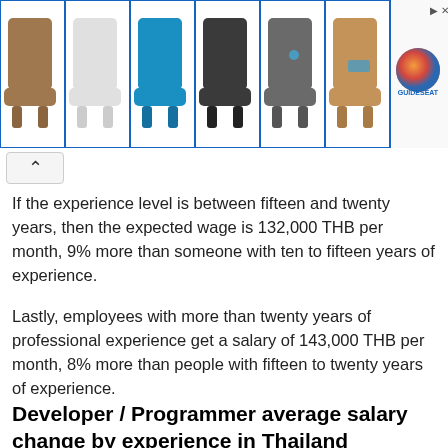[Figure (other): Advertisement banner showing six chair/furniture items in different colors (brown, white, blue, dark gray, gray, tan) arranged in a grid with a logo on the right side]
If the experience level is between fifteen and twenty years, then the expected wage is 132,000 THB per month, 9% more than someone with ten to fifteen years of experience.
Lastly, employees with more than twenty years of professional experience get a salary of 143,000 THB per month, 8% more than people with fifteen to twenty years of experience.
Developer / Programmer average salary change by experience in Thailand